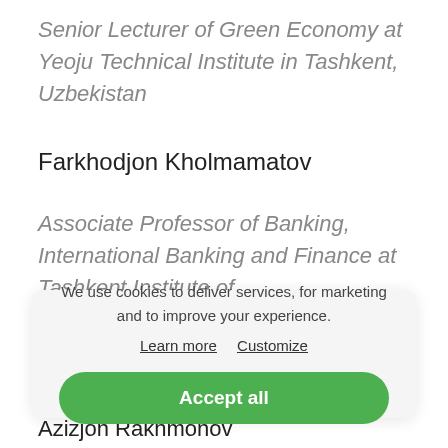Senior Lecturer of Green Economy at Yeoju Technical Institute in Tashkent, Uzbekistan
Farkhodjon Kholmamatov
Associate Professor of Banking, International Banking and Finance at Tashkent Institute of
We use cookies to deliver services, for marketing and to improve your experience. Learn more  Customize
Accept all
Azizjon Rakhmonov